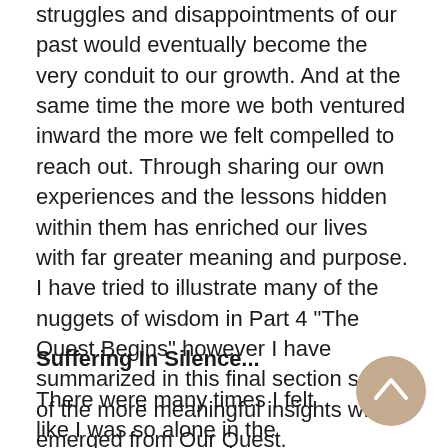struggles and disappointments of our past would eventually become the very conduit to our growth. And at the same time the more we both ventured inward the more we felt compelled to reach out. Through sharing our own experiences and the lessons hidden within them has enriched our lives with far greater meaning and purpose. I have tried to illustrate many of the nuggets of wisdom in Part 4 "The Quest Begins" however I have summarized in this final section some of the more meaningful insights which emerged from Our Quest.
Suffering In Silence...
There were many times I felt like I was so alone in the world like I was the only one